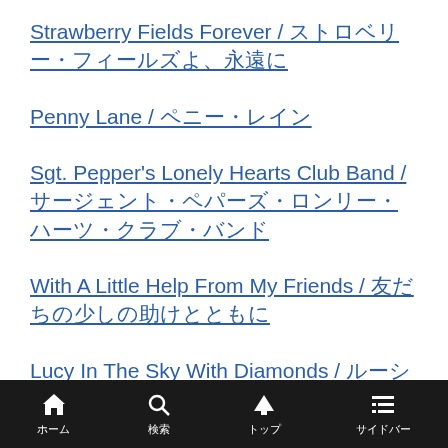Strawberry Fields Forever / ストロベリー・フィールズよ、永遠に
Penny Lane / ペニー・レイン
Sgt. Pepper's Lonely Hearts Club Band / サージェント・ペパーズ・ロンリー・ハーツ・クラブ・バンド
With A Little Help From My Friends / 友だちの少しの助けとともに
Lucy In The Sky With Diamonds / ルーシーはダイヤを持って空の上
ホーム　検索　トップ　サイドバー